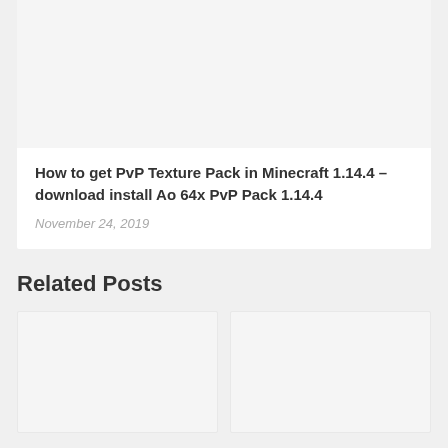[Figure (photo): Top image placeholder — light grey rectangle at top of card]
How to get PvP Texture Pack in Minecraft 1.14.4 – download install Ao 64x PvP Pack 1.14.4
November 24, 2019
Related Posts
[Figure (photo): Related post image placeholder — left card]
[Figure (photo): Related post image placeholder — right card]